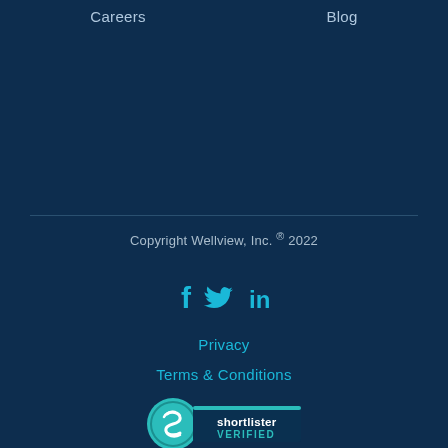Careers
Blog
Copyright Wellview, Inc. ® 2022
[Figure (infographic): Social media icons: Facebook (f), Twitter (bird), LinkedIn (in) in cyan/teal color]
Privacy
Terms & Conditions
[Figure (logo): Shortlister VERIFIED badge — circular teal logo with stylized S on left, dark banner with 'shortlister VERIFIED' text on right]